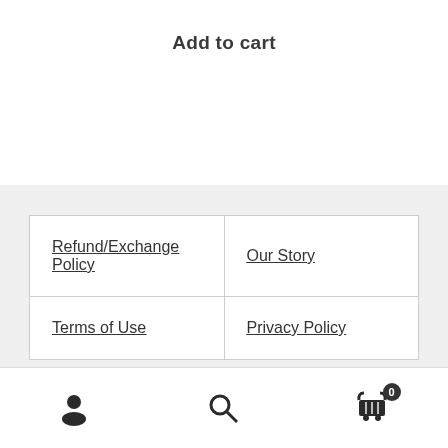Add to cart
| Refund/Exchange Policy | Our Story |
| Terms of Use | Privacy Policy |
Account | Search | Cart (0)